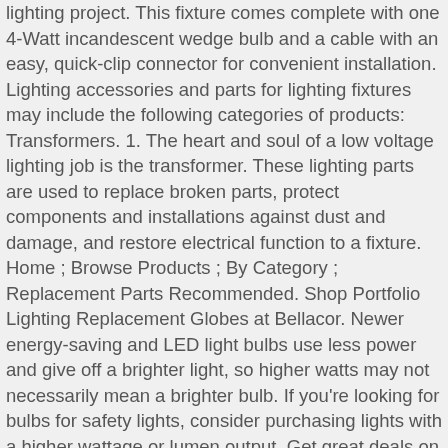lighting project. This fixture comes complete with one 4-Watt incandescent wedge bulb and a cable with an easy, quick-clip connector for convenient installation. Lighting accessories and parts for lighting fixtures may include the following categories of products: Transformers. 1. The heart and soul of a low voltage lighting job is the transformer. These lighting parts are used to replace broken parts, protect components and installations against dust and damage, and restore electrical function to a fixture. Home ; Browse Products ; By Category ; Replacement Parts Recommended. Shop Portfolio Lighting Replacement Globes at Bellacor. Newer energy-saving and LED light bulbs use less power and give off a brighter light, so higher watts may not necessarily mean a brighter bulb. If you're looking for bulbs for safety lights, consider purchasing lights with a higher wattage or lumen output. Get great deals on Portfolio Wall Lighting Fixtures. Does the DAL06P dim reverse phase loads? pdf interior student portfolio. Spare parts for all makes of static caravan. On our blog you will find reviews, comparisons and advice about lighting decor and lighting